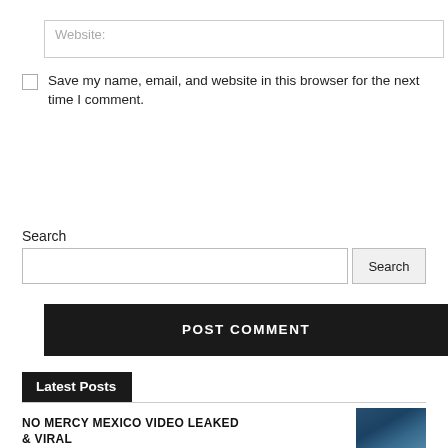Website:
Save my name, email, and website in this browser for the next time I comment.
POST COMMENT
Search
Search
Latest Posts
NO MERCY MEXICO VIDEO LEAKED & VIRAL